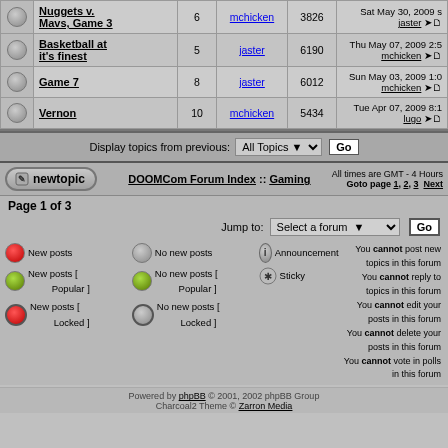|  | Topic | Replies | Author | Views | Last Post |
| --- | --- | --- | --- | --- | --- |
|  | Nuggets v. Mavs, Game 3 | 6 | mchicken | 3826 | Sat May 30, 2009 jaster |
|  | Basketball at it's finest | 5 | jaster | 6190 | Thu May 07, 2009 2:5 mchicken |
|  | Game 7 | 8 | jaster | 6012 | Sun May 03, 2009 1:0 mchicken |
|  | Vernon | 10 | mchicken | 5434 | Tue Apr 07, 2009 8:1 lugo |
Display topics from previous: All Topics Go
newtopic  DOOMCom Forum Index :: Gaming  All times are GMT - 4 Hours  Goto page 1, 2, 3  Next
Page 1 of 3
Jump to: Select a forum  Go
New posts
No new posts
Announcement
New posts [ Popular ]
No new posts [ Popular ]
Sticky
New posts [ Locked ]
No new posts [ Locked ]
You cannot post new topics in this forum You cannot reply to topics in this forum You cannot edit your posts in this forum You cannot delete your posts in this forum You cannot vote in polls in this forum
Powered by phpBB © 2001, 2002 phpBB Group  Charcoal2 Theme © Zarron Media